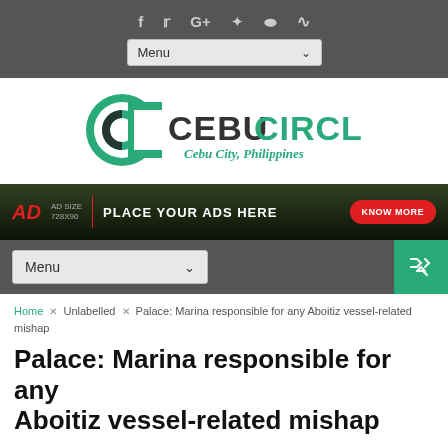f  t  G+  pinterest  instagram  rss  |  Menu
[Figure (logo): Cebu Circle logo with green C icon and text 'CEBU CIRCLE - Cebu City, Philippines']
[Figure (infographic): Advertisement banner: AD SIZE 728x90 | PLACE YOUR ADS HERE | KNOW MORE button]
Menu
Home × Unlabelled × Palace: Marina responsible for any Aboitiz vessel-related mishap
Palace: Marina responsible for any Aboitiz vessel-related mishap